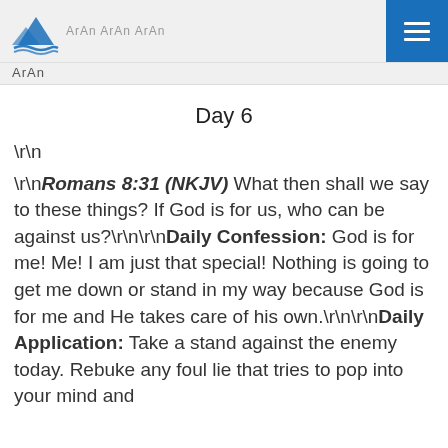ArAn ArAn ArAn
Day 6
\r\n
\r\nRomans 8:31 (NKJV) What then shall we say to these things? If God is for us, who can be against us?\r\n\r\nDaily Confession: God is for me! Me! I am just that special! Nothing is going to get me down or stand in my way because God is for me and He takes care of his own.\r\n\r\nDaily Application: Take a stand against the enemy today. Rebuke any foul lie that tries to pop into your mind and